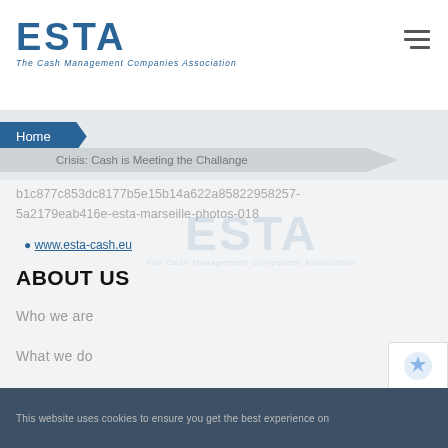[Figure (logo): ESTA - The Cash Management Companies Association logo in blue]
Home > Crisis: Cash is Meeting the Challange
b1c877c853dc8177b5e1b14a622a85822958257-
5a2179eab416e-esta-marseille-photos-018
www.esta-cash.eu
ABOUT US
Who we are
What we do
Working Groups
MEMBERS
This website uses cookies to ensure you get the best experience on